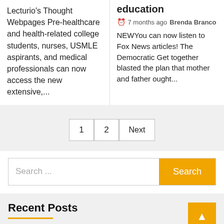Lecturio's Thought Webpages Pre-healthcare and health-related college students, nurses, USMLE aspirants, and medical professionals can now access the new extensive,...
education
7 months ago  Brenda Branco
NEWYou can now listen to Fox News articles! The Democratic Get together blasted the plan that mother and father ought...
1  2  Next
Search ...
Recent Posts